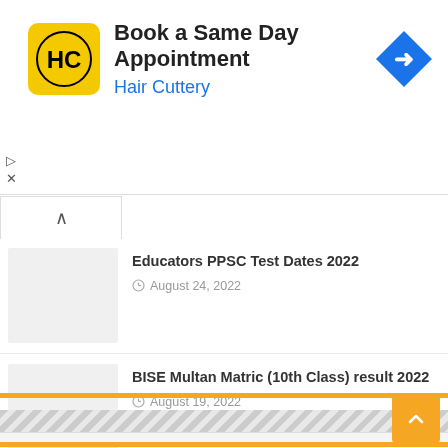[Figure (infographic): Advertisement banner for Hair Cuttery - Book a Same Day Appointment with HC logo in yellow/black and navigation arrow icon]
Educators PPSC Test Dates 2022
August 24, 2022
BISE Multan Matric (10th Class) result 2022
August 19, 2022